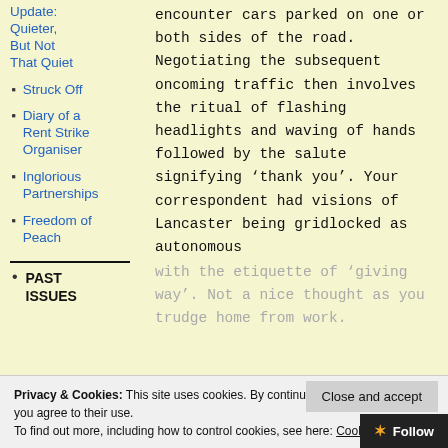Update: Quieter, But Not That Quiet
Struck Off
Diary of a Rent Strike Organiser
Inglorious Partnerships
Freedom of Peach
PAST ISSUES
encounter cars parked on one or both sides of the road. Negotiating the subsequent oncoming traffic then involves the ritual of flashing headlights and waving of hands followed by the salute signifying ‘thank you’. Your correspondent had visions of Lancaster being gridlocked as autonomous
with the etiquette of ‘giving way’. Not a nice thought as you trudge home from work.
Privacy & Cookies: This site uses cookies. By continuing to use this website, you agree to their use.
To find out more, including how to control cookies, see here: Cookie Policy
Close and accept
Follow